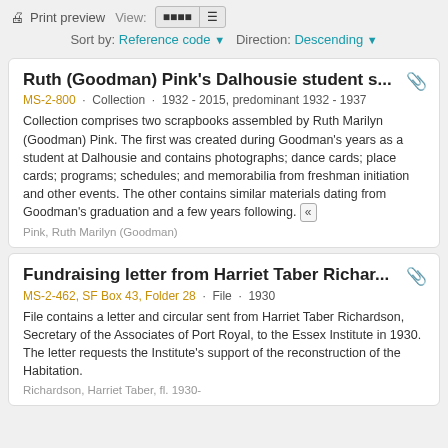Print preview  View:  [grid] [list]  Sort by: Reference code ▼  Direction: Descending ▼
Ruth (Goodman) Pink's Dalhousie student s...
MS-2-800 · Collection · 1932 - 2015, predominant 1932 - 1937
Collection comprises two scrapbooks assembled by Ruth Marilyn (Goodman) Pink. The first was created during Goodman's years as a student at Dalhousie and contains photographs; dance cards; place cards; programs; schedules; and memorabilia from freshman initiation and other events. The other contains similar materials dating from Goodman's graduation and a few years following. «
Pink, Ruth Marilyn (Goodman)
Fundraising letter from Harriet Taber Richar...
MS-2-462, SF Box 43, Folder 28 · File · 1930
File contains a letter and circular sent from Harriet Taber Richardson, Secretary of the Associates of Port Royal, to the Essex Institute in 1930. The letter requests the Institute's support of the reconstruction of the Habitation.
Richardson, Harriet Taber, fl. 1930-